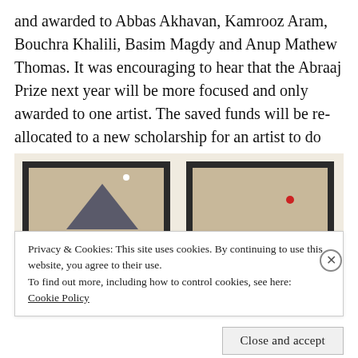and awarded to Abbas Akhavan, Kamrooz Aram, Bouchra Khalili, Basim Magdy and Anup Mathew Thomas. It was encouraging to hear that the Abraaj Prize next year will be more focused and only awarded to one artist. The saved funds will be re-allocated to a new scholarship for an artist to do their MA at the Royal College of Art in London.
[Figure (photo): Two framed artworks side by side on a gallery wall. Left frame contains a dark grey triangle on a beige/tan background with a small white dot. Right frame has a beige/tan background with a small red dot. Both frames are dark-bordered. Small white label placards are visible below each work.]
Privacy & Cookies: This site uses cookies. By continuing to use this website, you agree to their use.
To find out more, including how to control cookies, see here: Cookie Policy
Close and accept